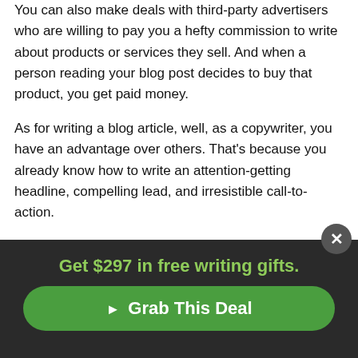You can also make deals with third-party advertisers who are willing to pay you a hefty commission to write about products or services they sell. And when a person reading your blog post decides to buy that product, you get paid money.
As for writing a blog article, well, as a copywriter, you have an advantage over others. That's because you already know how to write an attention-getting headline, compelling lead, and irresistible call-to-action.
There's a lot to like about writing your own blog, from perfecting your writing skills to making an easy five- or six-figure income. And best of all, you can get started
[Figure (infographic): Dark banner popup with green headline 'Get $297 in free writing gifts.' and a green rounded button 'Grab This Deal' with a close X button in the top right corner.]